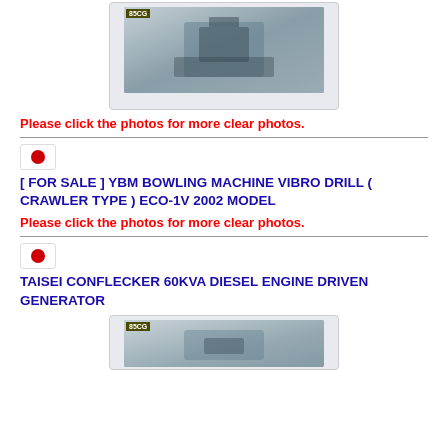[Figure (photo): Photo of heavy construction/drilling machine, shown in listing with 85CG watermark label]
Please click the photos for more clear photos.
[Figure (illustration): Japanese flag icon in white bordered box]
[ FOR SALE ] YBM BOWLING MACHINE VIBRO DRILL ( CRAWLER TYPE ) ECO-1V 2002 MODEL
Please click the photos for more clear photos.
[Figure (illustration): Japanese flag icon in white bordered box]
TAISEI CONFLECKER 60KVA DIESEL ENGINE DRIVEN GENERATOR
[Figure (photo): Photo of diesel engine generator, shown in listing with 85CG watermark label, partially visible]